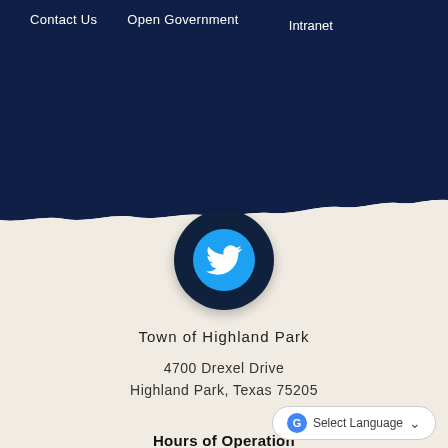Contact Us   Open Government   Intranet
[Figure (logo): Twitter bird icon in a circular dark navy button with a blue inner circle]
Town of Highland Park
4700 Drexel Drive
Highland Park, Texas 75205
Select Language
Hours of Operation